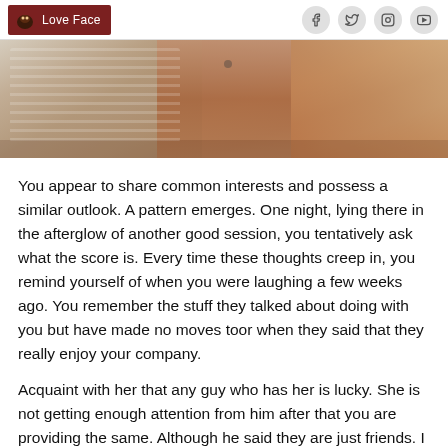Love Face
[Figure (photo): Close-up photo showing fabric and skin tones, partial body image with white clothing and brown skin tones visible]
You appear to share common interests and possess a similar outlook. A pattern emerges. One night, lying there in the afterglow of another good session, you tentatively ask what the score is. Every time these thoughts creep in, you remind yourself of when you were laughing a few weeks ago. You remember the stuff they talked about doing with you but have made no moves toor when they said that they really enjoy your company.
Acquaint with her that any guy who has her is lucky. She is not getting enough attention from him after that you are providing the same. Although he said they are just friends. I